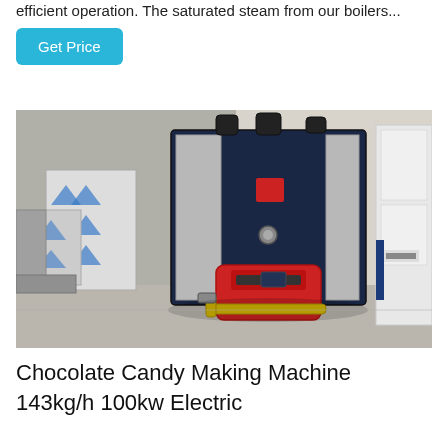efficient operation. The saturated steam from our boilers...
Get Price
[Figure (photo): Industrial steam boiler with dark navy blue casing and silver panels, red burner assembly with yellow gas pipe at the front, located inside an industrial warehouse. Chinese manufacturer logo visible on front panel.]
Chocolate Candy Making Machine 143kg/h 100kw Electric